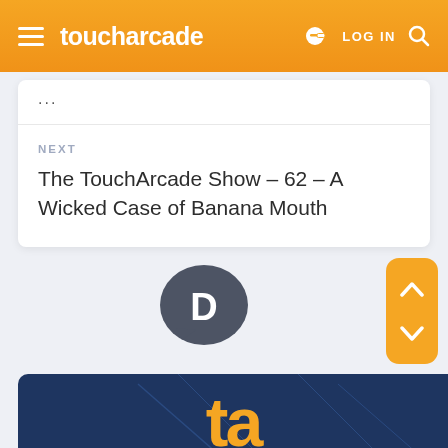toucharcade — LOG IN
...
NEXT
The TouchArcade Show – 62 – A Wicked Case of Banana Mouth
[Figure (logo): Disqus speech bubble logo with letter D]
[Figure (logo): TouchArcade logo partial view on dark blue banner background]